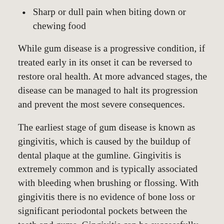Sharp or dull pain when biting down or chewing food
While gum disease is a progressive condition, if treated early in its onset it can be reversed to restore oral health. At more advanced stages, the disease can be managed to halt its progression and prevent the most severe consequences.
The earliest stage of gum disease is known as gingivitis, which is caused by the buildup of dental plaque at the gumline. Gingivitis is extremely common and is typically associated with bleeding when brushing or flossing. With gingivitis there is no evidence of bone loss or significant periodontal pockets between the teeth and gums. Gingivitis can be successfully treated and reversed with a series of professional dental cleanings and an improved